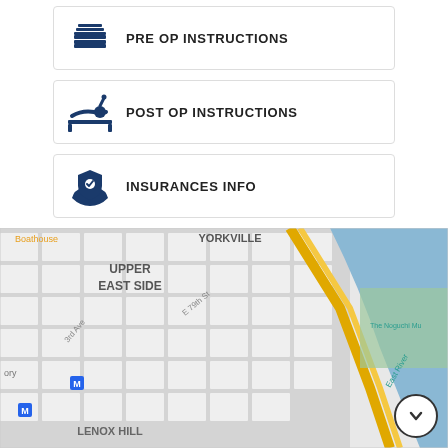PRE OP INSTRUCTIONS
POST OP INSTRUCTIONS
INSURANCES INFO
[Figure (map): Google Maps view showing Upper East Side, Yorkville, Lenox Hill neighborhoods in New York City, with East River and The Noguchi Museum visible on the right side. Streets include 3rd Ave and E 79th St. Metro stations marked with M icons.]